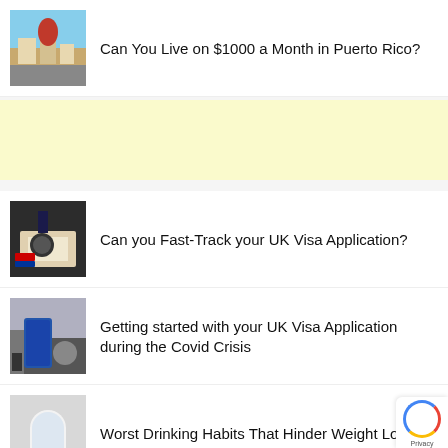[Figure (photo): Thumbnail image of a street scene with a domed building in Puerto Rico]
Can You Live on $1000 a Month in Puerto Rico?
[Figure (other): Yellow advertisement banner]
[Figure (photo): Thumbnail image of hands stamping a document with a UK visa]
Can you Fast-Track your UK Visa Application?
[Figure (photo): Thumbnail image of luggage and feet on a pavement]
Getting started with your UK Visa Application during the Covid Crisis
[Figure (photo): Thumbnail image of a glass of water]
Worst Drinking Habits That Hinder Weight Lose
[Figure (photo): Partially visible thumbnail at the bottom]
How to stay motivated as a content